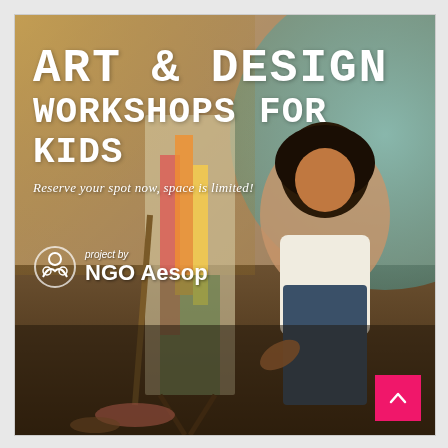[Figure (photo): A child painting on a canvas easel in an art studio. The background shows colorful paints and art supplies. A large teal decorative circle overlaps the upper right. A warm golden overlay covers the upper left. Text overlays read 'ART & DESIGN WORKSHOPS FOR KIDS' with a subtitle 'Reserve your spot now, space is limited!' and NGO Aesop logo. A pink scroll-to-top button appears in the lower right corner.]